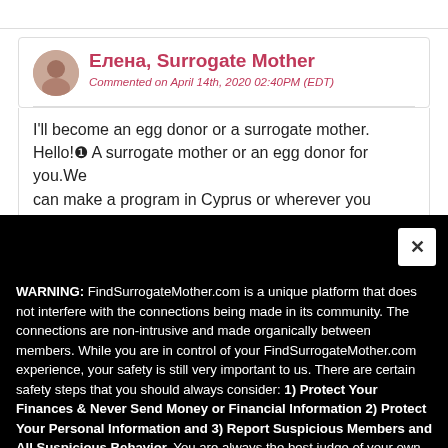Елена, Surrogate Mother
Commented on April 14th, 2020 02:40PM (EDT)
I'll become an egg donor or a surrogate mother. Hello!❶ A surrogate mother or an egg donor for you.We can make a program in Cyprus or wherever you
WARNING: FindSurrogateMother.com is a unique platform that does not interfere with the connections being made in its community. The connections are non-intrusive and made organically between members. While you are in control of your FindSurrogateMother.com experience, your safety is still very important to us. There are certain safety steps that you should always consider: 1) Protect Your Finances & Never Send Money or Financial Information 2) Protect Your Personal Information and 3) Report Suspicious Members and All Suspicious Behavior. You are always the best judge of your own safety, these guidelines are not intended to be a substitute for your own judgment.